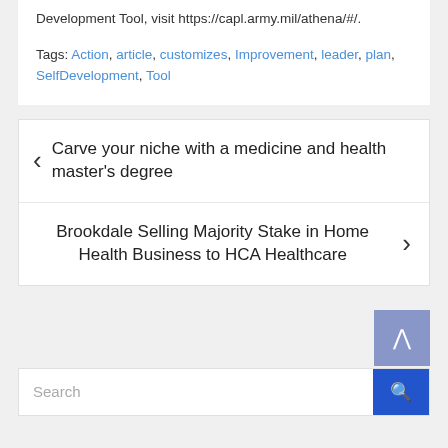Development Tool, visit https://capl.army.mil/athena/#/.
Tags: Action, article, customizes, Improvement, leader, plan, SelfDevelopment, Tool
< Carve your niche with a medicine and health master's degree
Brookdale Selling Majority Stake in Home Health Business to HCA Healthcare >
[Figure (screenshot): Back to top scroll button (light blue/purple square with upward chevron arrow)]
[Figure (screenshot): Search bar with placeholder text 'Search' and blue search button with magnifying glass icon]